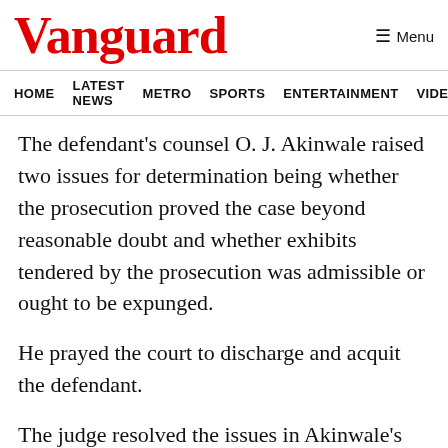Vanguard
HOME  LATEST NEWS  METRO  SPORTS  ENTERTAINMENT  VIDEOS
The defendant's counsel O. J. Akinwale raised two issues for determination being whether the prosecution proved the case beyond reasonable doubt and whether exhibits tendered by the prosecution was admissible or ought to be expunged.
He prayed the court to discharge and acquit the defendant.
The judge resolved the issues in Akinwale's favour.